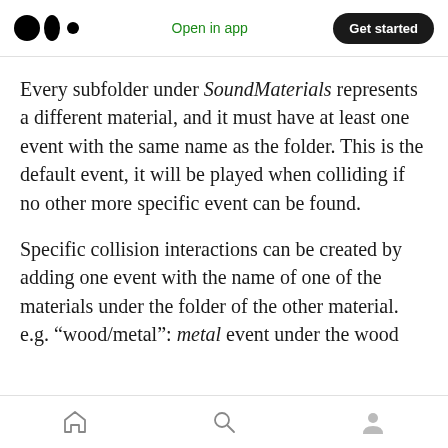Medium logo | Open in app | Get started
Every subfolder under SoundMaterials represents a different material, and it must have at least one event with the same name as the folder. This is the default event, it will be played when colliding if no other more specific event can be found.
Specific collision interactions can be created by adding one event with the name of one of the materials under the folder of the other material. e.g. “wood/metal”: metal event under the wood
Home | Search | Profile